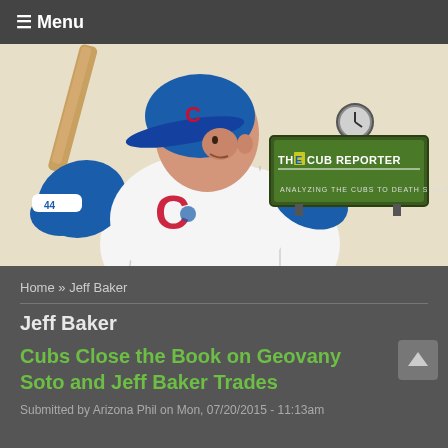☰ Menu
[Figure (illustration): Chicago Cubs baseball player illustration in batting stance wearing blue Cubs helmet and white pinstripe uniform, holding a wooden bat. The Cub Reporter logo is in the upper right: a green sign with clock on top reading 'THE CUB REPORTER' and tagline 'ANALYZING THE CUBS TO DEATH SINCE 2001'.]
Home » Jeff Baker
Jeff Baker
Cubs Close the Book on Geovany Soto and Jeff Baker Trades
Submitted by Arizona Phil on Mon, 07/20/2015 - 11:13am